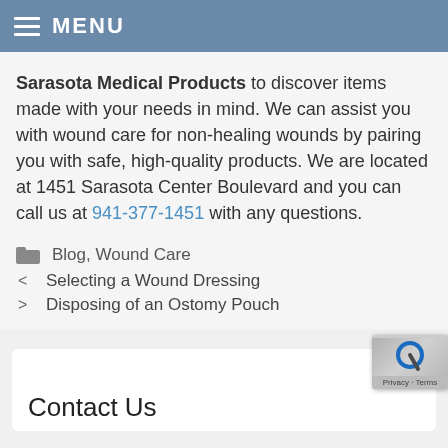MENU
Sarasota Medical Products to discover items made with your needs in mind. We can assist you with wound care for non-healing wounds by pairing you with safe, high-quality products. We are located at 1451 Sarasota Center Boulevard and you can call us at 941-377-1451 with any questions.
Blog, Wound Care
Selecting a Wound Dressing
Disposing of an Ostomy Pouch
Contact Us